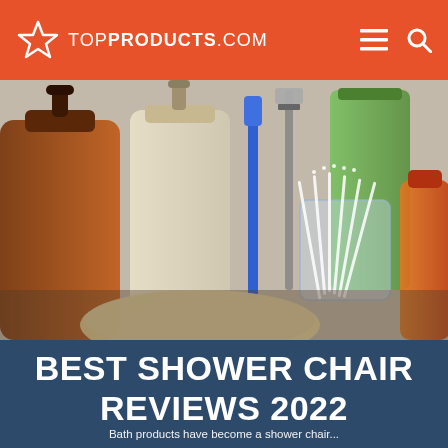TOPPRODUCTS.COM
[Figure (photo): Bathroom products on a surface including brown glass pump bottle, clear containers, blue toothbrush, razor, green bottle, cotton swabs, and orange/red bottle]
BEST SHOWER CHAIR REVIEWS 2022
Bath products have become a shower chair...